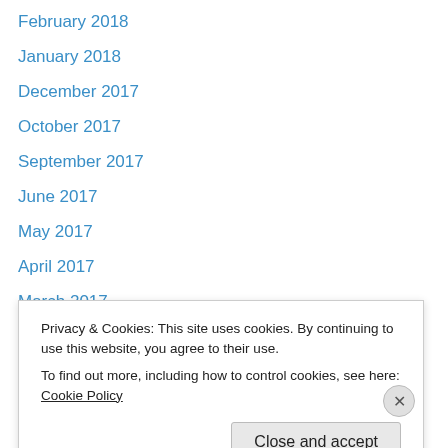February 2018
January 2018
December 2017
October 2017
September 2017
June 2017
May 2017
April 2017
March 2017
February 2017
January 2017
November 2016
October 2016
September 2016
Privacy & Cookies: This site uses cookies. By continuing to use this website, you agree to their use.
To find out more, including how to control cookies, see here: Cookie Policy
Close and accept